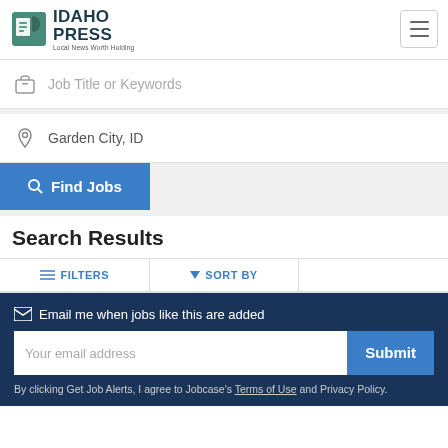[Figure (logo): Idaho Press logo with leaf/paper icon and tagline 'Local News Worth Holding']
Job Title or Keywords
Garden City, ID
Find Jobs
Search Results
FILTERS
SORT BY
Email me when jobs like this are added
Your email address
Submit
By clicking Get Job Alerts, I agree to Jobcase's Terms of Use and Privacy Policy.